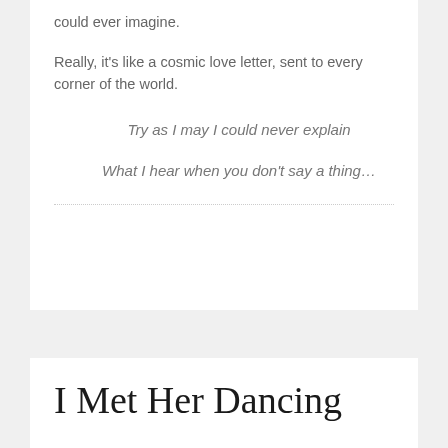could ever imagine.
Really, it's like a cosmic love letter, sent to every corner of the world.
Try as I may I could never explain
What I hear when you don't say a thing...
I Met Her Dancing